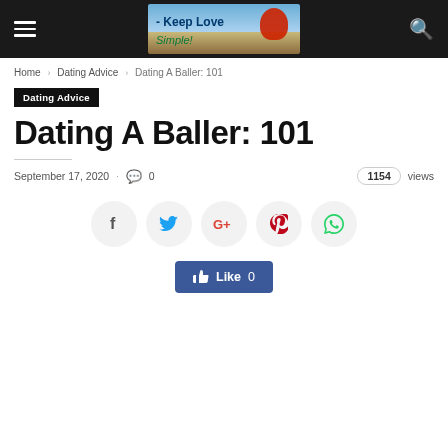Keep Love Simple! — site header with navigation
Home › Dating Advice › Dating A Baller: 101
Dating Advice
Dating A Baller: 101
September 17, 2020 · 0 comments · 1154 views
[Figure (infographic): Social sharing buttons: Facebook, Twitter, Google+, Pinterest, WhatsApp]
[Figure (infographic): Facebook Like button showing 0 likes]